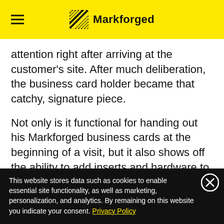Markforged
attention right after arriving at the customer's site. After much deliberation, the business card holder became that catchy, signature piece.
Not only is it functional for handing out his Markforged business cards at the beginning of a visit, but it also shows off the ability to add inserts and hardware to a MarkOne print
This website stores data such as cookies to enable essential site functionality, as well as marketing, personalization, and analytics. By remaining on this website you indicate your consent. Privacy Policy